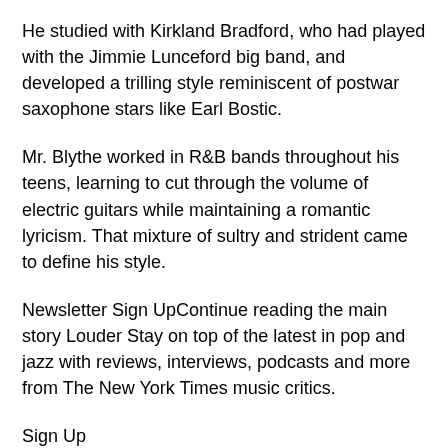He studied with Kirkland Bradford, who had played with the Jimmie Lunceford big band, and developed a trilling style reminiscent of postwar saxophone stars like Earl Bostic.
Mr. Blythe worked in R&B bands throughout his teens, learning to cut through the volume of electric guitars while maintaining a romantic lyricism. That mixture of sultry and strident came to define his style.
Newsletter Sign UpContinue reading the main story Louder Stay on top of the latest in pop and jazz with reviews, interviews, podcasts and more from The New York Times music critics.
Sign Up
You agree to receive occasional updates and special offers for The New York Times's products and services.
MANAGE EMAIL PREFERENCES PRIVACY POLICY OPT OUT OR CONTACT US ANYTIME When he was 19, he moved back to Los Angeles, where he met the pianist and bandleader Horace Tapscott and became affiliated with the